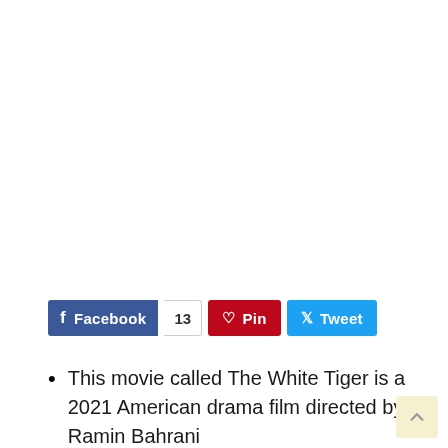[Figure (infographic): Social sharing buttons: Facebook with count 13, Pin, Tweet]
This movie called The White Tiger is a 2021 American drama film directed by Ramin Bahrani
with Adarsh Gourav in his first leading role.